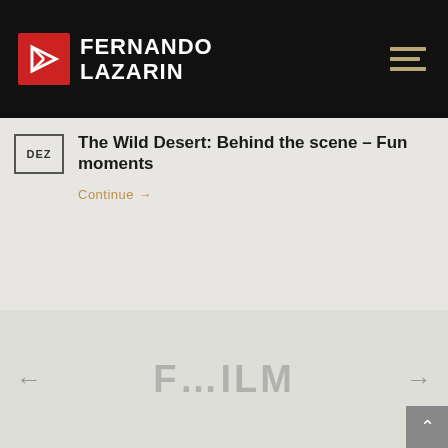[Figure (logo): Fernando Lazarin logo with red square icon and white text on black background, hamburger menu icon top right]
DEZ
The Wild Desert: Behind the scene – Fun moments
Continue →
[Figure (logo): Fujifilm logo in gray text, carousel with left and right arrows on gray background]
[Figure (other): Back to top button, gray square with white up arrow, bottom right]